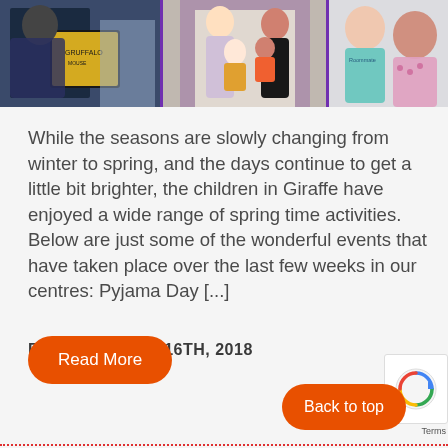[Figure (photo): A collage of three photos: left shows someone reading a book with a yellow/dark cover, center shows two women and two babies in front of a purple doorframe, right shows two children smiling in pajamas.]
While the seasons are slowly changing from winter to spring, and the days continue to get a little bit brighter, the children in Giraffe have enjoyed a wide range of spring time activities. Below are just some of the wonderful events that have taken place over the last few weeks in our centres: Pyjama Day [...]
FRIDAY, MARCH 16TH, 2018
Read More
Back to top
Terms